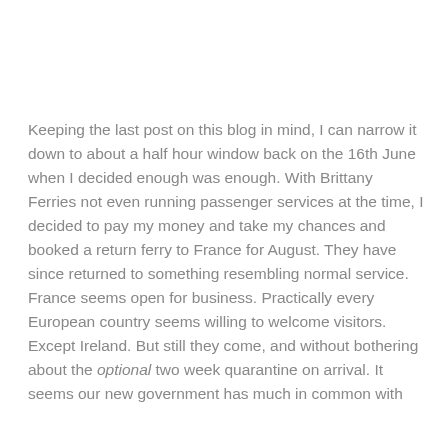Keeping the last post on this blog in mind, I can narrow it down to about a half hour window back on the 16th June when I decided enough was enough. With Brittany Ferries not even running passenger services at the time, I decided to pay my money and take my chances and booked a return ferry to France for August. They have since returned to something resembling normal service. France seems open for business. Practically every European country seems willing to welcome visitors. Except Ireland. But still they come, and without bothering about the optional two week quarantine on arrival. It seems our new government has much in common with